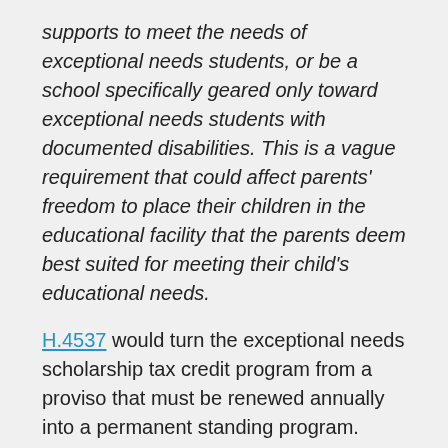supports to meet the needs of exceptional needs students, or be a school specifically geared only toward exceptional needs students with documented disabilities. This is a vague requirement that could affect parents' freedom to place their children in the educational facility that the parents deem best suited for meeting their child's educational needs.
H.4537 would turn the exceptional needs scholarship tax credit program from a proviso that must be renewed annually into a permanent standing program. Under the permanent program an individual would be entitled to an income or bank tax credit for a donation made to a qualifying non-profit scholarship funding organization if the contribution is used to provide grants for tuition to exceptional needs children enrolled in eligible schools. The grants would be limited to $10,000 per child.